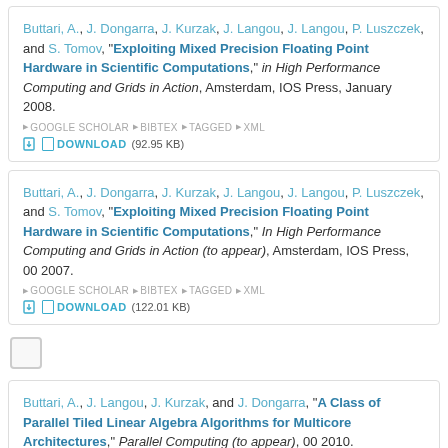Buttari, A., J. Dongarra, J. Kurzak, J. Langou, J. Langou, P. Luszczek, and S. Tomov, "Exploiting Mixed Precision Floating Point Hardware in Scientific Computations," in High Performance Computing and Grids in Action, Amsterdam, IOS Press, January 2008. ▶ GOOGLE SCHOLAR ▶ BIBTEX ▶ TAGGED ▶ XML DOWNLOAD (92.95 KB)
Buttari, A., J. Dongarra, J. Kurzak, J. Langou, J. Langou, P. Luszczek, and S. Tomov, "Exploiting Mixed Precision Floating Point Hardware in Scientific Computations," In High Performance Computing and Grids in Action (to appear), Amsterdam, IOS Press, 00 2007. ▶ GOOGLE SCHOLAR ▶ BIBTEX ▶ TAGGED ▶ XML DOWNLOAD (122.01 KB)
Buttari, A., J. Langou, J. Kurzak, and J. Dongarra, "A Class of Parallel Tiled Linear Algebra Algorithms for Multicore Architectures," Parallel Computing (to appear), 00 2010. ▶ GOOGLE SCHOLAR ▶ BIBTEX ▶ TAGGED ▶ XML DOWNLOAD (612.23 KB)
Buttari, A., J. Langou, J. Kurzak, and J. Dongarra, "A Class of Parallel...